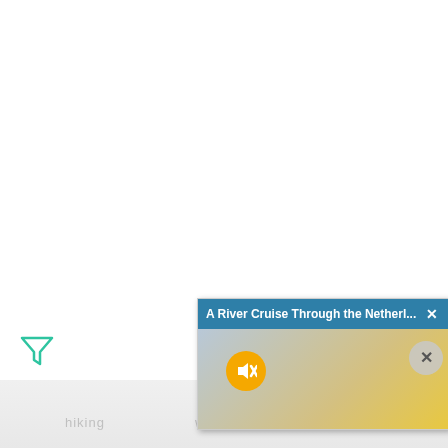[Figure (screenshot): Screenshot of a webpage with white background, a green filter/funnel icon on the left, faint 'hiking' and 'winter' tag labels, a light grey reflection band at the bottom, and a popup ad overlay in the lower right showing 'A River Cruise Through the Netherl...' with a teal title bar, a muted video thumbnail of a cloudy sky with golden light, a yellow mute button, and a grey circle close button.]